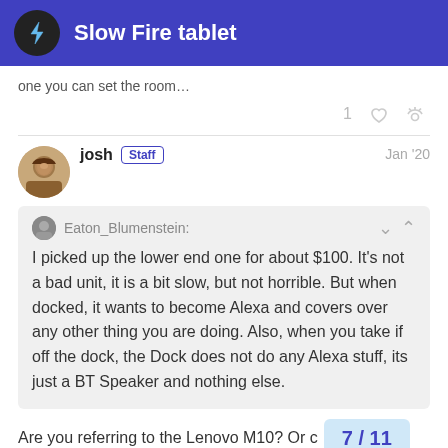Slow Fire tablet
one you can set the room…
josh Staff  Jan '20
Eaton_Blumenstein: I picked up the lower end one for about $100. It's not a bad unit, it is a bit slow, but not horrible. But when docked, it wants to become Alexa and covers over any other thing you are doing. Also, when you take if off the dock, the Dock does not do any Alexa stuff, its just a BT Speaker and nothing else.
Are you referring to the Lenovo M10? Or c Fire Tablets?
7 / 11